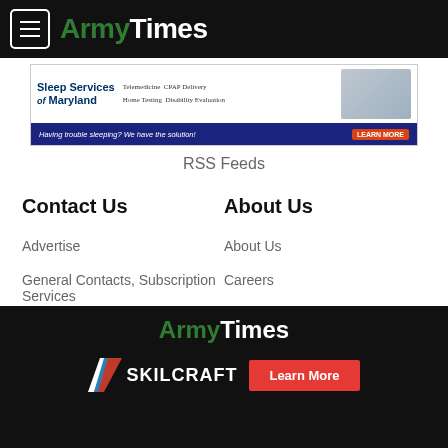ArmyTimes
[Figure (screenshot): Sleep Services of Maryland advertisement banner: Telemedicine, Home Testing, CPAP Delivery, Disability Evaluation. Having trouble sleeping? We have the solution! Learn More button.]
RSS Feeds
Contact Us
About Us
Advertise
About Us
General Contacts, Subscription Services
Careers
Editorial Staff
Jobs for Veterans
ArmyTimes
[Figure (logo): SKILCRAFT logo with American flag chevron on black background, with red Learn More button]